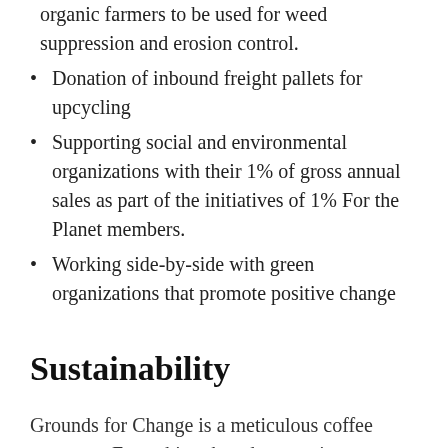Donation of recycled empty burlaps to local organic farmers to be used for weed suppression and erosion control.
Donation of inbound freight pallets for upcycling
Supporting social and environmental organizations with their 1% of gross annual sales as part of the initiatives of 1% For the Planet members.
Working side-by-side with green organizations that promote positive change
Sustainability
Grounds for Change is a meticulous coffee company. Everything they do must, in some way, affect long-term welfare for the